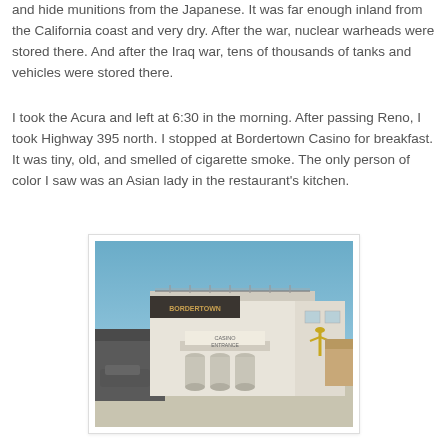and hide munitions from the Japanese. It was far enough inland from the California coast and very dry. After the war, nuclear warheads were stored there. And after the Iraq war, tens of thousands of tanks and vehicles were stored there.
I took the Acura and left at 6:30 in the morning. After passing Reno, I took Highway 395 north. I stopped at Bordertown Casino for breakfast. It was tiny, old, and smelled of cigarette smoke. The only person of color I saw was an Asian lady in the restaurant's kitchen.
[Figure (photo): Exterior photo of Bordertown Casino showing the casino entrance with white building facade, cylindrical concrete pillars, signage reading 'CASINO ENTRANCE', a rooftop railing, and a decorative yellow cactus logo on the right side of the building, under a blue sky.]